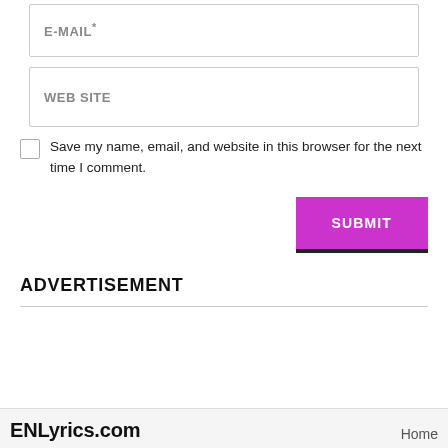E-MAIL*
WEB SITE
Save my name, email, and website in this browser for the next time I comment.
SUBMIT
ADVERTISEMENT
ENLyrics.com  Home